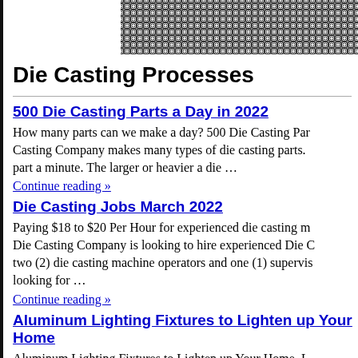[Figure (other): Halftone dot pattern header image in top-right area]
Die Casting Processes
500 Die Casting Parts a Day in 2022
How many parts can we make a day? 500 Die Casting Par... Casting Company makes many types of die casting parts. ... part a minute. The larger or heavier a die …
Continue reading »
Die Casting Jobs March 2022
Paying $18 to $20 Per Hour for experienced die casting m... Die Casting Company is looking to hire experienced Die C... two (2) die casting machine operators and one (1) supervis... looking for …
Continue reading »
Aluminum Lighting Fixtures to Lighten up Your Home
Aluminum Lighting Fixtures to Lighten up Your Home. L... primarily for creating artificial illumination. A lighting fix... source, an opening that could either have lenses or none, a... controls the light …
Continue reading »
Kinetic Die Casting Makes Aluminum Auto Parts